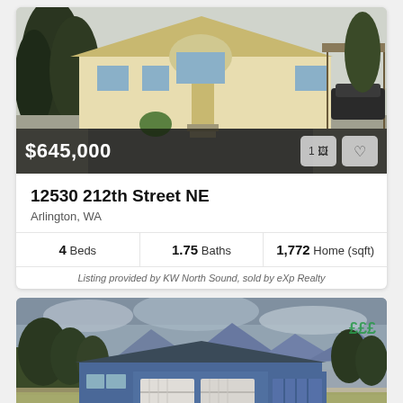[Figure (photo): Exterior photo of a single-story manufactured home with yellow/cream siding, large arched window, attached carport with a dark car, surrounded by trees on a gravel driveway. Price overlay shows $645,000 with photo count button (1) and favorite heart button.]
12530 212th Street NE
Arlington, WA
| Beds | Baths | Home (sqft) |
| --- | --- | --- |
| 4 Beds | 1.75 Baths | 1,772 Home (sqft) |
Listing provided by KW North Sound, sold by eXp Realty
[Figure (photo): Exterior photo of a single-story blue craftsman-style home with two-car garage, manicured green lawn, mountain backdrop with trees, overcast sky. Green watermark logo visible top right.]